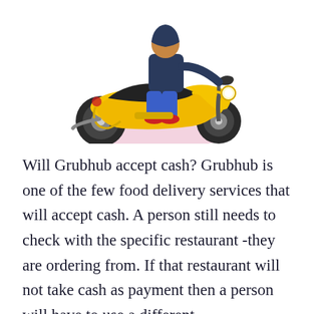[Figure (illustration): A cartoon delivery person riding a yellow scooter/moped, wearing a dark jacket and blue pants with red shoes. The scooter casts a pink elliptical shadow on the ground.]
Will Grubhub accept cash? Grubhub is one of the few food delivery services that will accept cash. A person still needs to check with the specific restaurant -they are ordering from. If that restaurant will not take cash as payment then a person will have to use a different